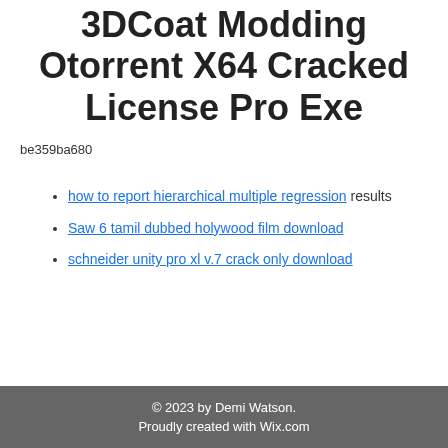3DCoat Modding Otorrent X64 Cracked License Pro Exe
be359ba680
how to report hierarchical multiple regression results
Saw 6 tamil dubbed holywood film download
schneider unity pro xl v.7 crack only download
© 2023 by Demi Watson. Proudly created with Wix.com